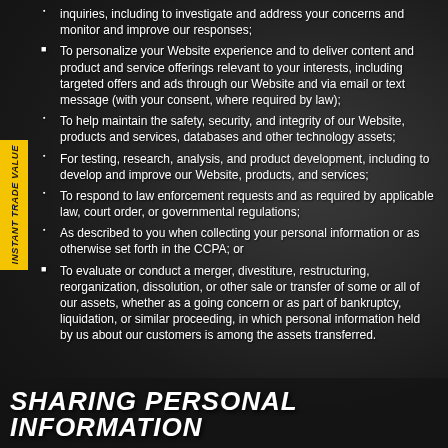inquiries, including to investigate and address your concerns and monitor and improve our responses;
To personalize your Website experience and to deliver content and product and service offerings relevant to your interests, including targeted offers and ads through our Website and via email or text message (with your consent, where required by law);
To help maintain the safety, security, and integrity of our Website, products and services, databases and other technology assets;
For testing, research, analysis, and product development, including to develop and improve our Website, products, and services;
To respond to law enforcement requests and as required by applicable law, court order, or governmental regulations;
As described to you when collecting your personal information or as otherwise set forth in the CCPA; or
To evaluate or conduct a merger, divestiture, restructuring, reorganization, dissolution, or other sale or transfer of some or all of our assets, whether as a going concern or as part of bankruptcy, liquidation, or similar proceeding, in which personal information held by us about our customers is among the assets transferred.
SHARING PERSONAL INFORMATION